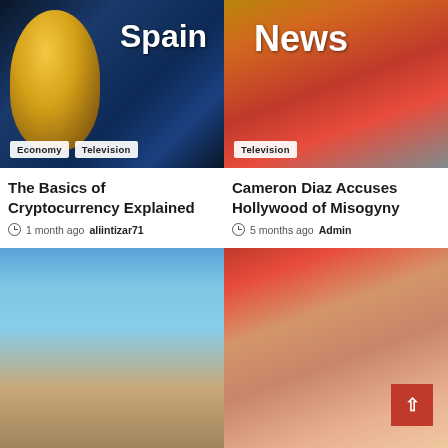[Figure (photo): Bitcoin gold coin on dark blue background with 'Spain' text overlay]
[Figure (photo): Woman smiling with 'News' text overlay, woman in red/orange top]
The Basics of Cryptocurrency Explained
1 month ago  aliintizar71
Cameron Diaz Accuses Hollywood of Misogyny
5 months ago  Admin
[Figure (photo): Two people standing outdoors near cattle on a farm]
[Figure (photo): Red-haired woman smiling, with red back-to-top button in corner]